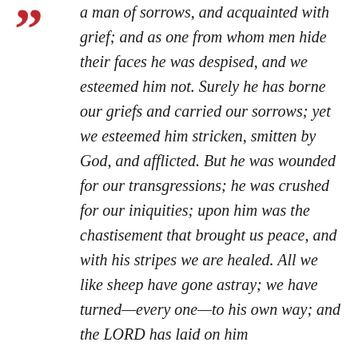a man of sorrows, and acquainted with grief; and as one from whom men hide their faces he was despised, and we esteemed him not. Surely he has borne our griefs and carried our sorrows; yet we esteemed him stricken, smitten by God, and afflicted. But he was wounded for our transgressions; he was crushed for our iniquities; upon him was the chastisement that brought us peace, and with his stripes we are healed. All we like sheep have gone astray; we have turned—every one—to his own way; and the LORD has laid on him